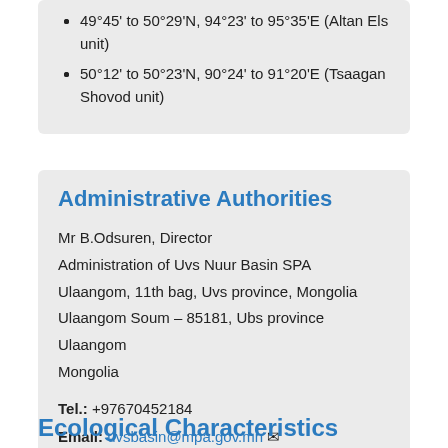49°45' to 50°29'N, 94°23' to 95°35'E (Altan Els unit)
50°12' to 50°23'N, 90°24' to 91°20'E (Tsaagan Shovod unit)
Administrative Authorities
Mr B.Odsuren, Director
Administration of Uvs Nuur Basin SPA
Ulaangom, 11th bag, Uvs province, Mongolia
Ulaangom Soum – 85181, Ubs province
Ulaangom
Mongolia
Tel.: +97670452184
Email: uvsbasin@mpa.gov.mn
Website | Facebook | Twitter
Ecological Characteristics